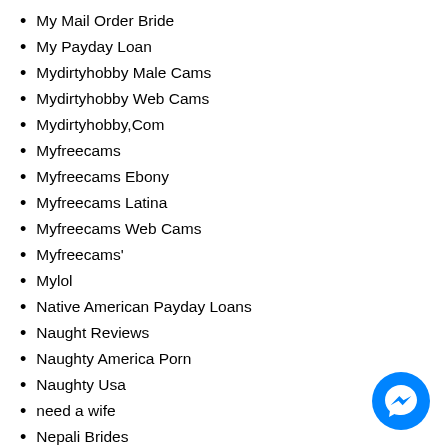My Mail Order Bride
My Payday Loan
Mydirtyhobby Male Cams
Mydirtyhobby Web Cams
Mydirtyhobby,Com
Myfreecams
Myfreecams Ebony
Myfreecams Latina
Myfreecams Web Cams
Myfreecams'
Mylol
Native American Payday Loans
Naught Reviews
Naughty America Porn
Naughty Usa
need a wife
Nepali Brides
Net Credit
[Figure (illustration): Blue circular Facebook Messenger chat icon button in the bottom-right corner of the page]